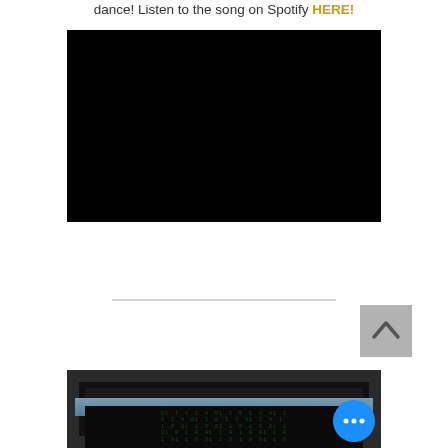dance! Listen to the song on Spotify HERE!
[Figure (other): A large black rectangle, likely an embedded video player placeholder]
[Figure (other): A decorative horizontal divider line]
[Figure (other): A grey square scroll-to-top button with an upward-pointing chevron arrow]
[Figure (photo): A dark photo showing a framed panel or screen with a glowing light bar at the top and matrix-style green text/numbers below, with a blue chat bubble icon in the corner with three dots]